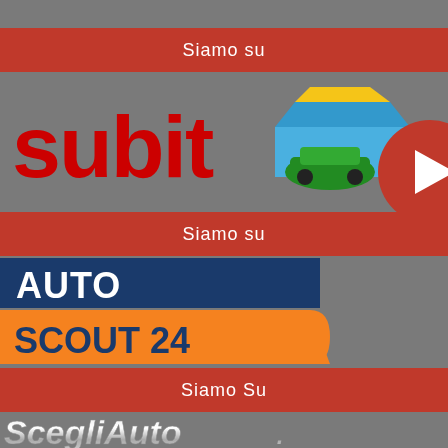Siamo su
[Figure (logo): Subito.it logo with marketplace illustration and YouTube play button icon]
Siamo su
[Figure (logo): AutoScout24 logo - blue bar with AUTO text and orange bar with SCOUT 24 text]
Siamo Su
[Figure (logo): ScegliAuto logo in italic metallic style]